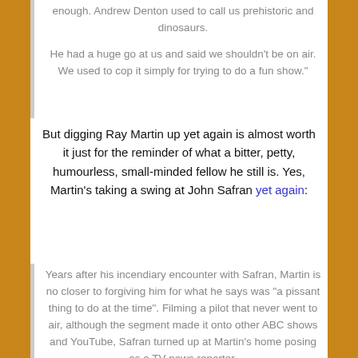enough. Andrew Denton used to call us prehistoric and dinosaurs.
He had a huge go at us and said we shouldn't be on air. We used to cop it simply for trying to do a fun show."
But digging Ray Martin up yet again is almost worth it just for the reminder of what a bitter, petty, humourless, small-minded fellow he still is. Yes, Martin's taking a swing at John Safran yet again:
Years after his incendiary encounter with Safran, Martin is no closer to forgiving him for what he says was "a pissant thing to do at the time". Filming a pilot that never went to air, although the segment made it onto other ABC shows and YouTube, Safran turned up at Martin's home posing as a TV news reporter.